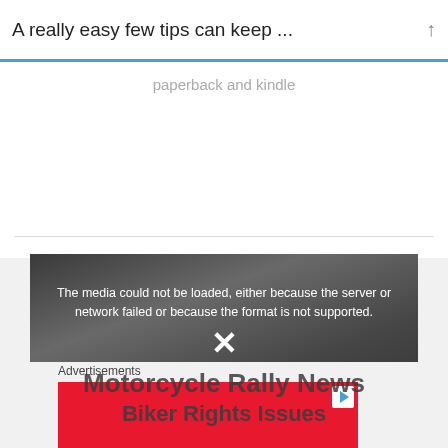A really easy few tips can keep ...
paperback and kindle
[Figure (screenshot): Video player showing error message: 'The media could not be loaded, either because the server or network failed or because the format is not supported.' with X close icon. Background shows Motorcycle Rally News Biker Rights Issues branding with crowd.]
Advertisements
[Figure (other): Red advertisement banner with play button icon in top right corner.]